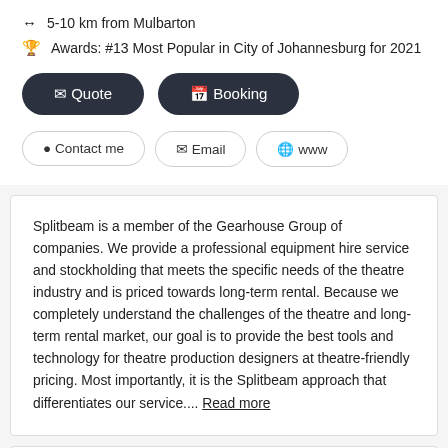5-10 km from Mulbarton
Awards: #13 Most Popular in City of Johannesburg for 2021
Quote
Booking
Contact me
Email
www
Splitbeam is a member of the Gearhouse Group of companies. We provide a professional equipment hire service and stockholding that meets the specific needs of the theatre industry and is priced towards long-term rental. Because we completely understand the challenges of the theatre and long-term rental market, our goal is to provide the best tools and technology for theatre production designers at theatre-friendly pricing. Most importantly, it is the Splitbeam approach that differentiates our service.... Read more
Screenquip
Equipment Hire > Party Equipment Hire